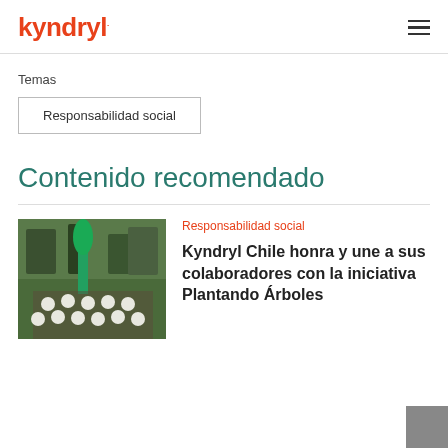kyndryl
Temas
Responsabilidad social
Contenido recomendado
Responsabilidad social
[Figure (photo): Group of people in white t-shirts posing outdoors with a green banner, tree planting initiative]
Kyndryl Chile honra y une a sus colaboradores con la iniciativa Plantando Árboles